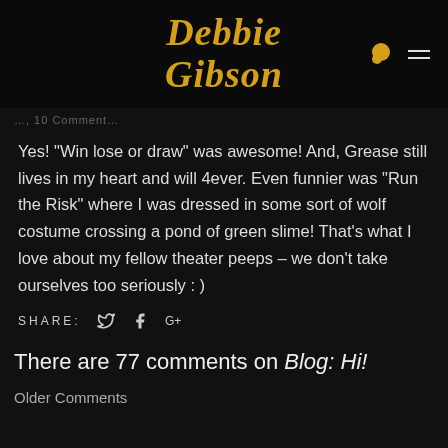Debbie Gibson
…, 10 Comment…
Yes! “Win lose or draw” was awesome! And, Grease still lives in my heart and will 4ever. Even funnier was “Run the Risk” where I was dressed in some sort of wolf costume crossing a pond of green slime! That’s what I love about my fellow theater peeps – we don’t take ourselves too seriously : )
SHARE:
There are 77 comments on Blog: Hi!
Older Comments